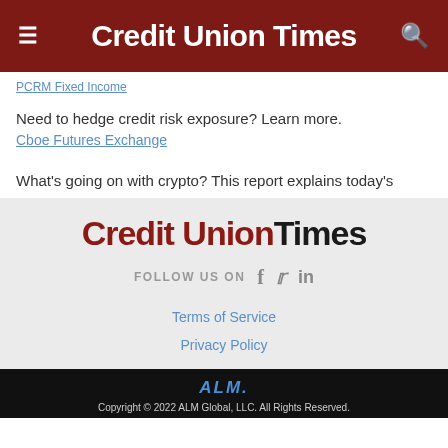Credit Union Times
PCRM Fixed Income
Need to hedge credit risk exposure? Learn more.
Cboe Futures Exchange
What's going on with crypto? This report explains today's
[Figure (logo): Credit Union Times logo in footer section]
FOLLOW US ON
Terms of Service
Privacy Policy
[Figure (logo): ALM logo in black footer bar]
Copyright © 2022 ALM Global, LLC. All Rights Reserved.